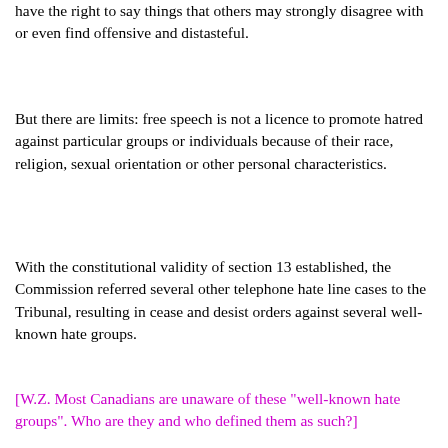have the right to say things that others may strongly disagree with or even find offensive and distasteful.
But there are limits: free speech is not a licence to promote hatred against particular groups or individuals because of their race, religion, sexual orientation or other personal characteristics.
With the constitutional validity of section 13 established, the Commission referred several other telephone hate line cases to the Tribunal, resulting in cease and desist orders against several well-known hate groups.
[W.Z. Most Canadians are unaware of these "well-known hate groups". Who are they and who defined them as such?]
Then in the late 1980's another new technology started to emerge: the Internet. True to form, the intellectual heirs of John Ross Taylor did not take long to adopt this new technology. Ernst Zundel was already a well-known hate propagandist. He ran a publishing house that